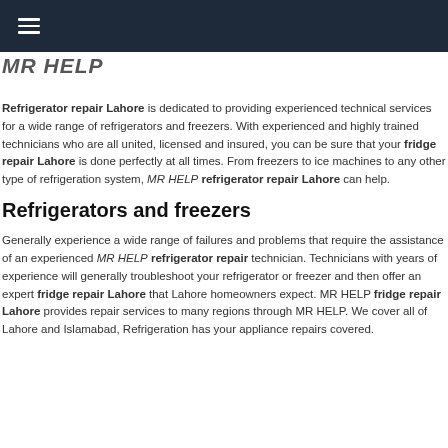MR HELP
Refrigerator repair Lahore is dedicated to providing experienced technical services for a wide range of refrigerators and freezers. With experienced and highly trained technicians who are all united, licensed and insured, you can be sure that your fridge repair Lahore is done perfectly at all times. From freezers to ice machines to any other type of refrigeration system, MR HELP refrigerator repair Lahore can help.
Refrigerators and freezers
Generally experience a wide range of failures and problems that require the assistance of an experienced MR HELP refrigerator repair technician. Technicians with years of experience will generally troubleshoot your refrigerator or freezer and then offer an expert fridge repair Lahore that Lahore homeowners expect. MR HELP fridge repair Lahore provides repair services to many regions through MR HELP. We cover all of Lahore and Islamabad, Refrigeration has your appliance repairs covered.